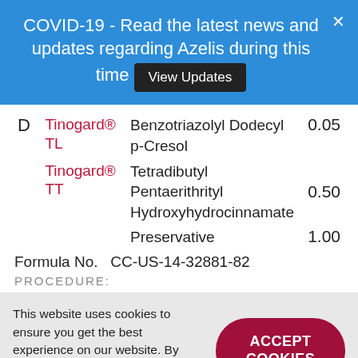COVID-19 - Read the latest news and updates regarding Azelis during this time  View Updates
|  | Brand | Chemical Name | Amount |
| --- | --- | --- | --- |
| D | Tinogard® TL | Benzotriazolyl Dodecyl p-Cresol | 0.05 |
|  | Tinogard® TT | Tetradibutyl Pentaerithrityl Hydroxyhydrocinnamate | 0.50 |
|  |  | Preservative | 1.00 |
Formula No.   CC-US-14-32881-82
PROCEDURE:
This website uses cookies to ensure you get the best experience on our website. By clicking anywhere on our website you will accept our cookie policy.